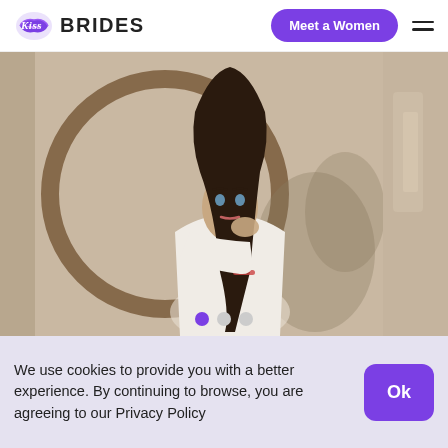[Figure (logo): Kiss Brides logo with purple lips icon and bold BRIDES text]
Meet a Women
[Figure (photo): Young brunette woman in white blouse posing next to a circular decorative element with plants in background]
We use cookies to provide you with a better experience. By continuing to browse, you are agreeing to our Privacy Policy
Ok